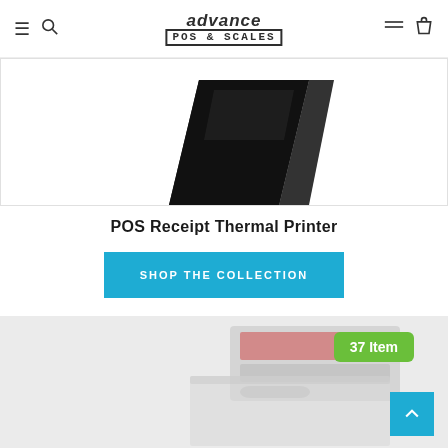advance POS & SCALES — navigation bar with hamburger, search, logo, menu, bag icons
[Figure (photo): Partial view of a black POS receipt thermal printer on white background]
POS Receipt Thermal Printer
SHOP THE COLLECTION
[Figure (photo): Partial view of a POS scale/printer device on light grey background with a '37 Item' green badge overlay]
37 Item